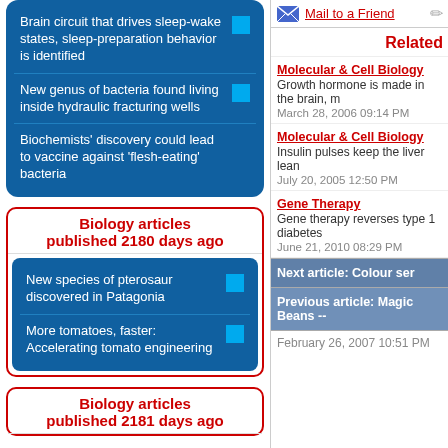Brain circuit that drives sleep-wake states, sleep-preparation behavior is identified
New genus of bacteria found living inside hydraulic fracturing wells
Biochemists' discovery could lead to vaccine against 'flesh-eating' bacteria
Biology articles published 2180 days ago
New species of pterosaur discovered in Patagonia
More tomatoes, faster: Accelerating tomato engineering
Biology articles published 2181 days ago
Mail to a Friend
Related
Molecular & Cell Biology
Growth hormone is made in the brain, m
March 28, 2006 09:14 PM
Molecular & Cell Biology
Insulin pulses keep the liver lean
July 20, 2005 12:50 PM
Gene Therapy
Gene therapy reverses type 1 diabetes
June 21, 2010 08:29 PM
Next article: Colour ser
Previous article: Magic Beans --
February 26, 2007 10:51 PM